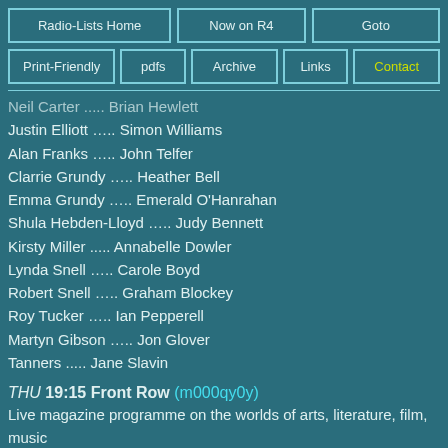Radio-Lists Home | Now on R4 | Goto | Print-Friendly | pdfs | Archive | Links | Contact
Neil Carter ..... Brian Hewlett
Justin Elliott ….. Simon Williams
Alan Franks ….. John Telfer
Clarrie Grundy ….. Heather Bell
Emma Grundy ….. Emerald O'Hanrahan
Shula Hebden-Lloyd ….. Judy Bennett
Kirsty Miller ..... Annabelle Dowler
Lynda Snell ….. Carole Boyd
Robert Snell ….. Graham Blockey
Roy Tucker ….. Ian Pepperell
Martyn Gibson ….. Jon Glover
Tanners ..... Jane Slavin
THU 19:15 Front Row (m000qy0y)
Live magazine programme on the worlds of arts, literature, film, music